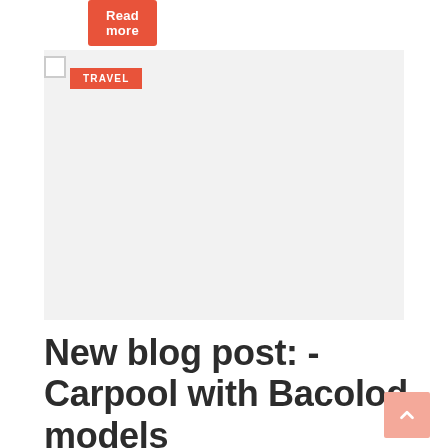Read more
[Figure (other): Light gray placeholder image block with a TRAVEL badge overlay in the top-left corner]
New blog post: - Carpool with Bacolod models @digitalspidey @wahpinas